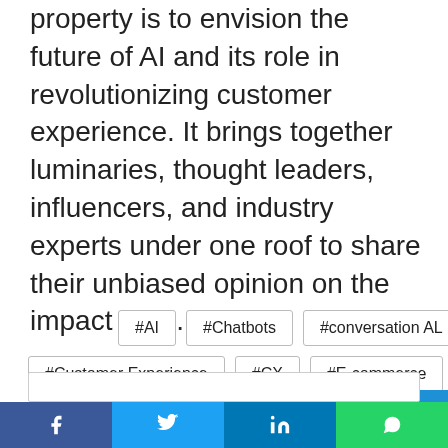property is to envision the future of AI and its role in revolutionizing customer experience. It brings together luminaries, thought leaders, influencers, and industry experts under one roof to share their unbiased opinion on the impact of AI.
#AI
#Chatbots
#conversation AL
#Customer Experience
#CX
#E-commerce
#Retail
#Yellow.AI